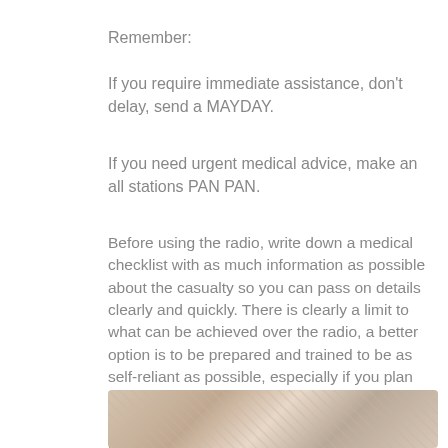Remember:
If you require immediate assistance, don't delay, send a MAYDAY.
If you need urgent medical advice, make an all stations PAN PAN.
Before using the radio, write down a medical checklist with as much information as possible about the casualty so you can pass on details clearly and quickly. There is clearly a limit to what can be achieved over the radio, a better option is to be prepared and trained to be as self-reliant as possible, especially if you plan to be at sea for several days or weeks. If in doubt, do not hesitate to make contact with help ashore.
[Figure (photo): A person's hands handling what appears to be cards or documents, shot from above on a desk surface.]